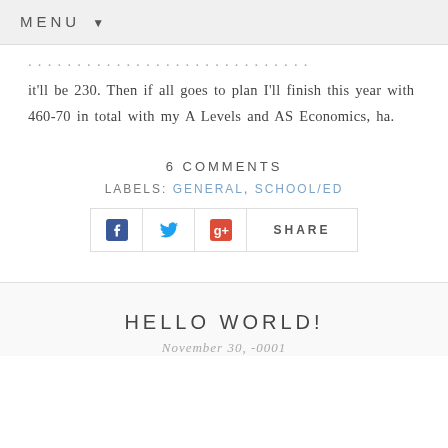MENU ▼
…have it. Hopefully by this time I've done my AS maths, it'll be 230. Then if all goes to plan I'll finish this year with 460-70 in total with my A Levels and AS Economics, ha.
6 COMMENTS
LABELS: GENERAL, SCHOOL/ED
[Figure (other): Social share bar with Facebook, Twitter, Google+ and SHARE buttons]
HELLO WORLD!
November 30, -0001